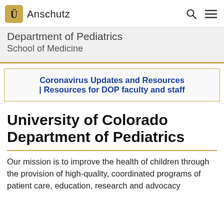CU Anschutz
Department of Pediatrics
School of Medicine
Coronavirus Updates and Resources | Resources for DOP faculty and staff
University of Colorado Department of Pediatrics
Our mission is to improve the health of children through the provision of high-quality, coordinated programs of patient care, education, research and advocacy